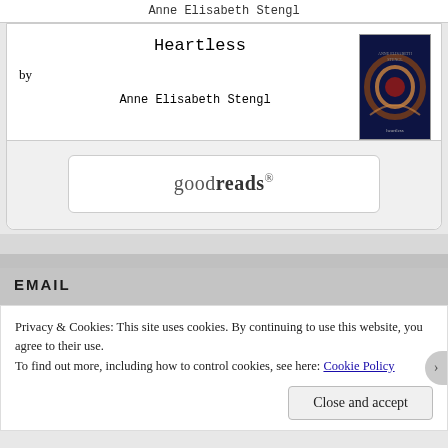Anne Elisabeth Stengl
Heartless
by
Anne Elisabeth Stengl
[Figure (illustration): Book cover for Heartless showing a dark swirling design on a dark blue/purple background with the title and author name]
[Figure (logo): Goodreads logo in a rounded rectangle button]
EMAIL
Privacy & Cookies: This site uses cookies. By continuing to use this website, you agree to their use.
To find out more, including how to control cookies, see here: Cookie Policy
Close and accept